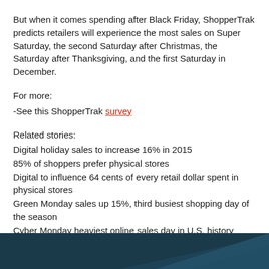But when it comes spending after Black Friday, ShopperTrak predicts retailers will experience the most sales on Super Saturday, the second Saturday after Christmas, the Saturday after Thanksgiving, and the first Saturday in December.
For more:
-See this ShopperTrak survey
Related stories:
Digital holiday sales to increase 16% in 2015
85% of shoppers prefer physical stores
Digital to influence 64 cents of every retail dollar spent in physical stores
Green Monday sales up 15%, third busiest shopping day of the season
Cyber Monday heaviest online sales day in U.S. history